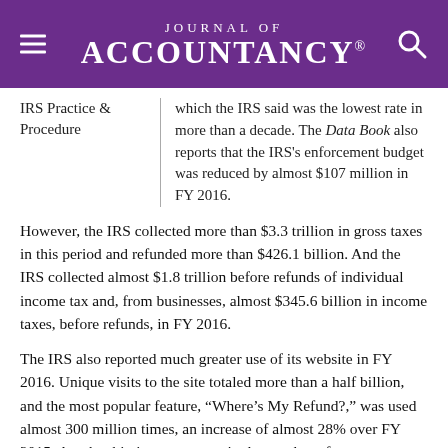Journal of Accountancy
IRS Practice & Procedure
which the IRS said was the lowest rate in more than a decade. The Data Book also reports that the IRS's enforcement budget was reduced by almost $107 million in FY 2016.
However, the IRS collected more than $3.3 trillion in gross taxes in this period and refunded more than $426.1 billion. And the IRS collected almost $1.8 trillion before refunds of individual income tax and, from businesses, almost $345.6 billion in income taxes, before refunds, in FY 2016.
The IRS also reported much greater use of its website in FY 2016. Unique visits to the site totaled more than a half billion, and the most popular feature, “Where’s My Refund?,” was used almost 300 million times, an increase of almost 28% over FY 2015. Another big increase came in the number of taxpayers using IRS2GO, the IRS’s mobile app, which increased 29% over last year.